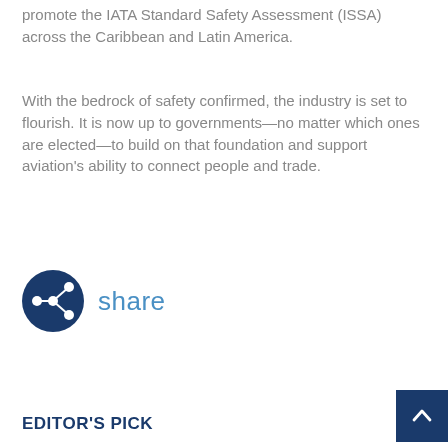promote the IATA Standard Safety Assessment (ISSA) across the Caribbean and Latin America.
With the bedrock of safety confirmed, the industry is set to flourish. It is now up to governments—no matter which ones are elected—to build on that foundation and support aviation's ability to connect people and trade.
[Figure (infographic): Share icon: dark blue circle with a network share symbol (three connected nodes), with the word 'share' in light blue text to the right.]
EDITOR'S PICK